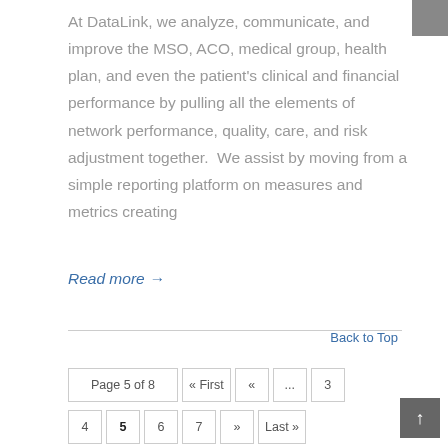At DataLink, we analyze, communicate, and improve the MSO, ACO, medical group, health plan, and even the patient's clinical and financial performance by pulling all the elements of network performance, quality, care, and risk adjustment together.  We assist by moving from a simple reporting platform on measures and metrics creating
Read more →
Back to Top
Page 5 of 8  « First  «  ...  3  4  5  6  7  »  Last »